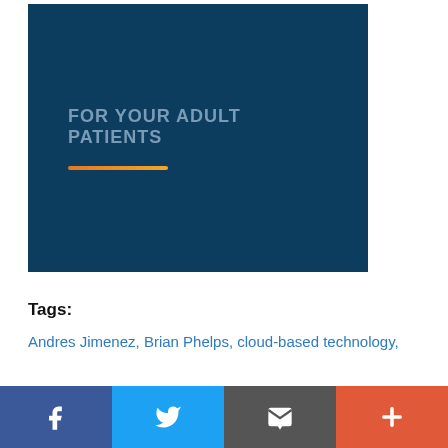[Figure (illustration): Dark blue rectangular banner with text 'FOR YOUR ADULT PATIENTS' in grey uppercase letters and an orange horizontal line below the text]
Tags:
Andres Jimenez, Brian Phelps, cloud-based technology,
[Figure (infographic): Social media sharing bar with four buttons: Facebook (blue), Twitter (light blue), Email/envelope (grey), and Plus/more (orange-red)]